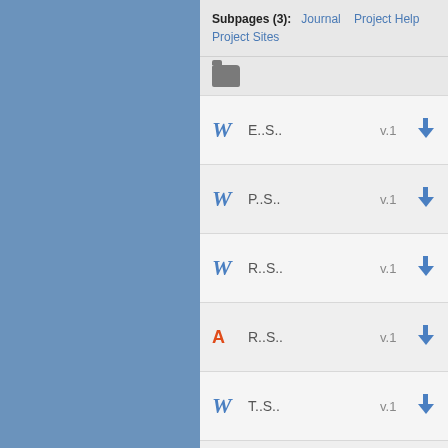Subpages (3): Journal  Project Help  Project Sites
[Figure (other): Folder icon]
E..S..  v.1
P..S..  v.1
R..S..  v.1
R..S..  v.1  (PDF icon)
T..S..  v.1
U..P..  v.1  (PPT icon)
U..P..  v.1
U..P..  v.1
U..P..  v.1